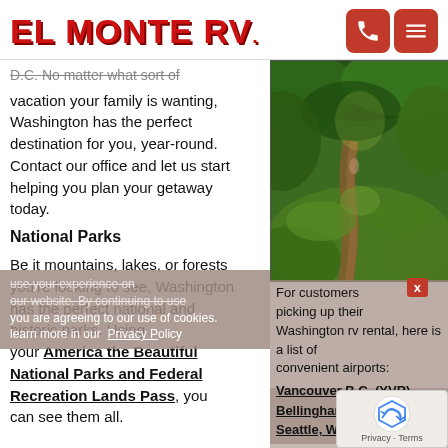EL MONTE RV.
D.C. No matter what sort of vacation your family is wanting, Washington has the perfect destination for you, year-round. Contact our office and let us start helping you plan your getaway today.
[Figure (photo): Forest path through dense green ferns and trees, natural light filtering through canopy]
National Parks
Be it mountains, lakes, or forests you're looking to see, Washington has the perfect national and historic parks. Using your America the Beautiful National Parks and Federal Recreation Lands Pass, you can see them all.
For customers picking up their Washington rv rental, here is a list of convenient airports:
Vancouver B.C. (YVR)
Bellingham, WA (BLI)
Seattle, WA (SEA)
Go fishing at Lake Roosevelt National Recreation Center. Watch for orca whales. Check